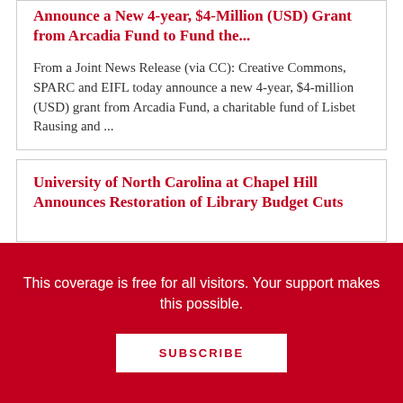Announce a New 4-year, $4-Million (USD) Grant from Arcadia Fund to Fund the...
From a Joint News Release (via CC): Creative Commons, SPARC and EIFL today announce a new 4-year, $4-million (USD) grant from Arcadia Fund, a charitable fund of Lisbet Rausing and ...
University of North Carolina at Chapel Hill Announces Restoration of Library Budget Cuts
This coverage is free for all visitors. Your support makes this possible.